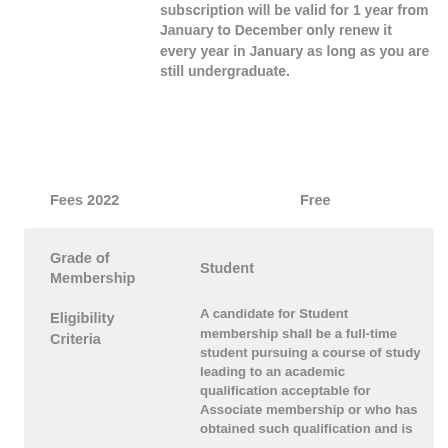subscription will be valid for 1 year from January to December only renew it every year in January as long as you are still undergraduate.
Fees 2022   Free
| Grade of Membership | Student |
| Eligibility Criteria | A candidate for Student membership shall be a full-time student pursuing a course of study leading to an academic qualification acceptable for Associate membership or who has obtained such qualification and is |